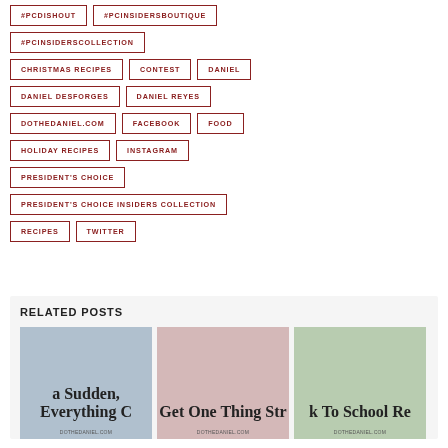#PCDISHOUT
#PCINSIDERSBOUTIQUE
#PCINSIDERSCOLLECTION
CHRISTMAS RECIPES
CONTEST
DANIEL
DANIEL DESFORGES
DANIEL REYES
DOTHEDANIEL.COM
FACEBOOK
FOOD
HOLIDAY RECIPES
INSTAGRAM
PRESIDENT'S CHOICE
PRESIDENT'S CHOICE INSIDERS COLLECTION
RECIPES
TWITTER
RELATED POSTS
[Figure (photo): Three related post thumbnail images with cursive text overlays: 'a Sudden, Everything C...', 'Get One Thing Str...', 'k To School Re...' each with dothedaniel.com watermark]